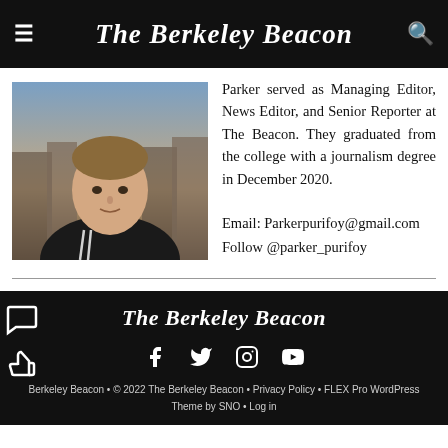The Berkeley Beacon
[Figure (photo): Headshot photo of author Parker Purifoy outdoors on a rooftop with buildings in background, wearing a dark jacket with white stripes]
Parker served as Managing Editor, News Editor, and Senior Reporter at The Beacon. They graduated from the college with a journalism degree in December 2020.
Email: Parkerpurifoy@gmail.com
Follow @parker_purifoy
The Berkeley Beacon
Berkeley Beacon • © 2022 The Berkeley Beacon • Privacy Policy • FLEX Pro WordPress Theme by SNO • Log in